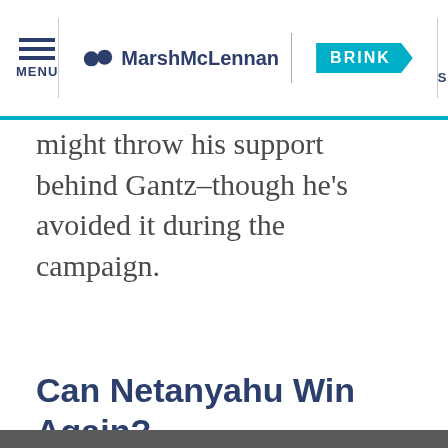MENU | MarshMcLennan BRINK | SEARCH
might throw his support behind Gantz–though he's avoided it during the campaign.
Can Netanyahu Win Again?
We use cookies to optimize the performance of this site and give you the best user experience. By using the site, you accept our use of cookies.